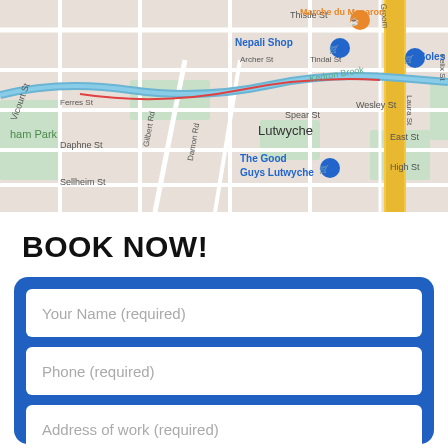[Figure (map): Google Maps screenshot showing Lutwyche area in Brisbane, Australia. Visible landmarks include Kedron Brook waterway, Marche du Macaron, Nepali Shop, Coles, The Good Guys Lutwyche. Streets include Thistle St, Archer St, Tindal St, Ferres St, Daphne St, Sellheim St, Gilbert Rd, Damon Rd, Spear St, Wesley St, East St, High St, Laura St, Felix St, Vicourt St.]
BOOK NOW!
Your Name (required)
Phone (required)
Address of work (required)